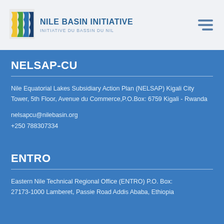[Figure (logo): Nile Basin Initiative logo with colorful vertical wavy lines icon and text 'NILE BASIN INITIATIVE / INITIATIVE DU BASSIN DU NIL']
NELSAP-CU
Nile Equatorial Lakes Subsidiary Action Plan (NELSAP) Kigali City Tower, 5th Floor, Avenue du Commerce,P.O.Box: 6759 Kigali - Rwanda
nelsapcu@nilebasin.org
+250 788307334
ENTRO
Eastern Nile Technical Regional Office (ENTRO) P.O. Box: 27173-1000 Lamberet, Passie Road Addis Ababa, Ethiopia